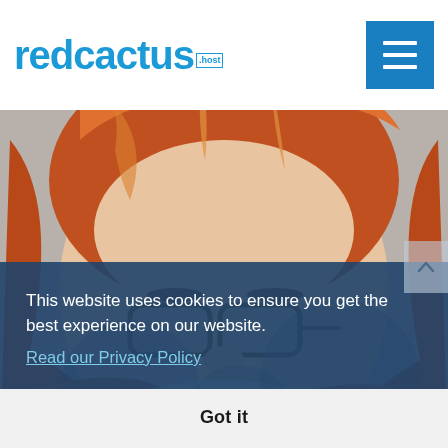[Figure (screenshot): Website screenshot of redcactus.host showing a header with logo and hamburger menu button, a hero image of a red-haired woman wearing glasses, and a cookie consent banner overlay at the bottom with text and a 'Got it' button.]
This website uses cookies to ensure you get the best experience on our website.
Read our Privacy Policy
Got it